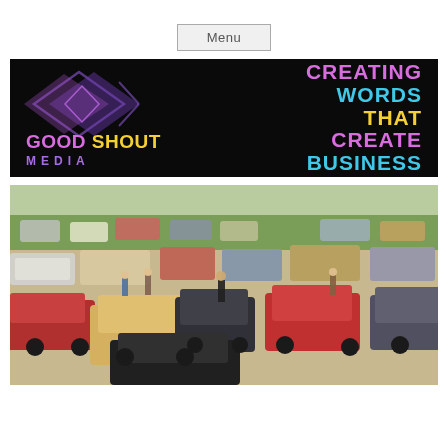Menu
[Figure (logo): Good Shout Media logo banner on black background with colorful diamonds graphic on left and tagline 'CREATING WORDS THAT CREATE BUSINESS' on right in pink, cyan, yellow colors]
[Figure (photo): Outdoor classic/vintage car show with many old cars parked on grass and gravel area, people walking among the vehicles, green grass field in background]